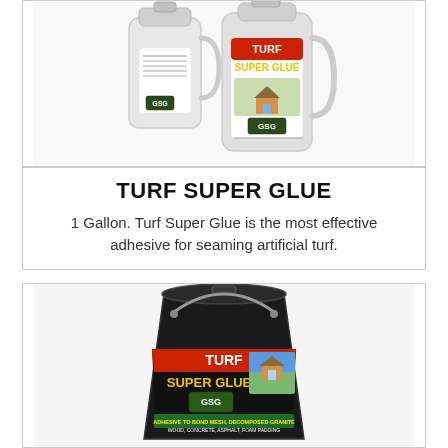[Figure (photo): Two white gallon jugs of Turf Super Glue product with label showing a house and lawn]
TURF SUPER GLUE
1 Gallon. Turf Super Glue is the most effective adhesive for seaming artificial turf.
[Figure (photo): Black 5-gallon bucket of Turf Super Glue with product label showing house and lawn]